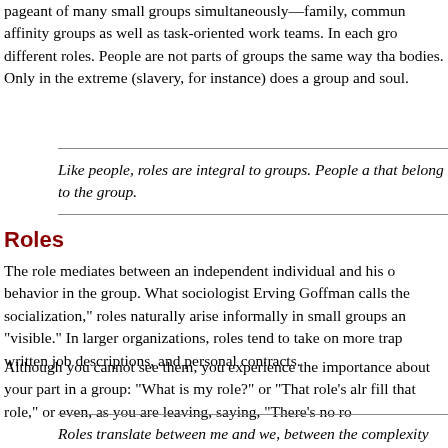pageant of many small groups simultaneously—family, commun affinity groups as well as task-oriented work teams. In each gro different roles. People are not parts of groups the same way tha bodies. Only in the extreme (slavery, for instance) does a group and soul.
Like people, roles are integral to groups. People a that belong to the group.
Roles
The role mediates between an independent individual and his o behavior in the group. What sociologist Erving Goffman calls the socialization," roles naturally arise informally in small groups an "visible." In larger organizations, roles tend to take on more trap written job descriptions, and personal contracts.
Although you cannot see them, you experience the importance about your part in a group: "What is my role?" or "That role's alr fill that role," or even, as you are leaving, saying, "There's no ro
Roles translate between me and we, between the complexity of individual people and the comparati playing a part in a group.